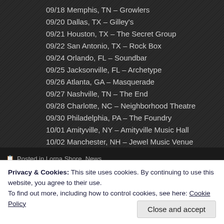09/18 Memphis, TN – Growlers
09/20 Dallas, TX – Gilley's
09/21 Houston, TX – The Secret Group
09/22 San Antonio, TX – Rock Box
09/24 Orlando, FL – Soundbar
09/25 Jacksonville, FL – Archetype
09/26 Atlanta, GA – Masquerade
09/27 Nashville, TN – The End
09/28 Charlotte, NC – Neighborhood Theatre
09/30 Philadelphia, PA – The Foundry
10/01 Amityville, NY – Amityville Music Hall
10/02 Manchester, NH – Jewel Music Venue
10/03 Providence, RI – Alchemy
Posted in Lorna Shore, News
Privacy & Cookies: This site uses cookies. By continuing to use this website, you agree to their use. To find out more, including how to control cookies, see here: Cookie Policy
Close and accept